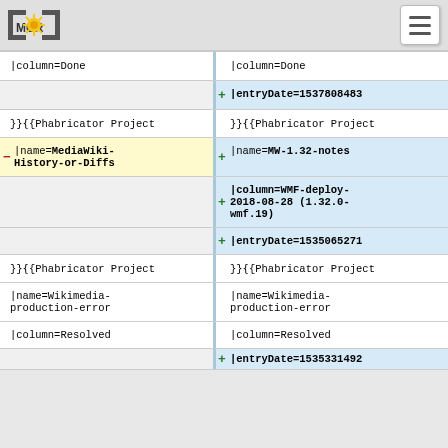[MCR] logo and menu button
|column=Done
|column=Done
|entryDate=1537808483
}}{{Phabricator Project
}}{{Phabricator Project
|name=MediaWiki-History-or-Diffs
|name=MW-1.32-notes
|column=WMF-deploy-2018-08-28 (1.32.0-wmf.19)
|entryDate=1535065271
}}{{Phabricator Project
}}{{Phabricator Project
|name=Wikimedia-production-error
|name=Wikimedia-production-error
|column=Resolved
|column=Resolved
|entryDate=1535331492